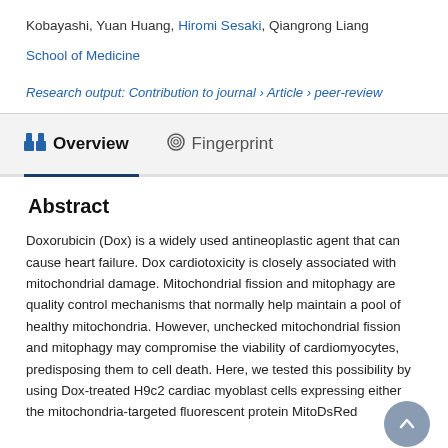Kobayashi, Yuan Huang, Hiromi Sesaki, Qiangrong Liang
School of Medicine
Research output: Contribution to journal › Article › peer-review
Overview   Fingerprint
Abstract
Doxorubicin (Dox) is a widely used antineoplastic agent that can cause heart failure. Dox cardiotoxicity is closely associated with mitochondrial damage. Mitochondrial fission and mitophagy are quality control mechanisms that normally help maintain a pool of healthy mitochondria. However, unchecked mitochondrial fission and mitophagy may compromise the viability of cardiomyocytes, predisposing them to cell death. Here, we tested this possibility by using Dox-treated H9c2 cardiac myoblast cells expressing either the mitochondria-targeted fluorescent protein MitoDsRed